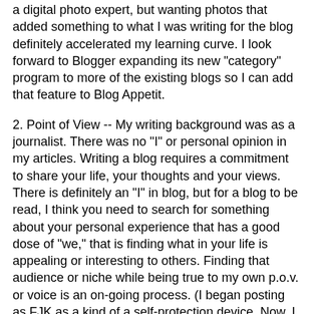a digital photo expert, but wanting photos that added something to what I was writing for the blog definitely accelerated my learning curve. I look forward to Blogger expanding its new "category" program to more of the existing blogs so I can add that feature to Blog Appetit.
2. Point of View -- My writing background was as a journalist. There was no "I" or personal opinion in my articles. Writing a blog requires a commitment to share your life, your thoughts and your views. There is definitely an "I" in blog, but for a blog to be read, I think you need to search for something about your personal experience that has a good dose of "we," that is finding what in your life is appealing or interesting to others. Finding that audience or niche while being true to my own p.o.v. or voice is an on-going process. (I began posting as FJK as a kind of a self-protection device. Now, I am pretty comfortable letting the world know FJK = Faith J. Kramer.)
3. Community -- As I went from reading food blogs to creating one, I wondered how welcome I would be to participate in the wider community of food bloggers. Locally